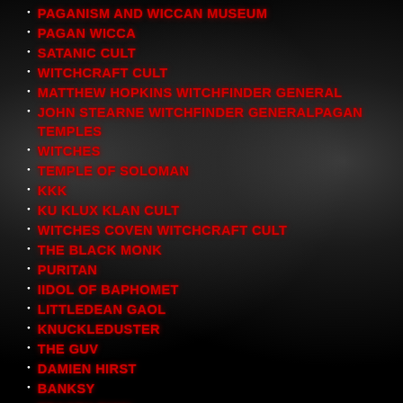PAGANISM AND WICCAN MUSEUM
PAGAN WICCA
SATANIC CULT
WITCHCRAFT CULT
MATTHEW HOPKINS WITCHFINDER GENERAL
JOHN STEARNE WITCHFINDER GENERALPAGAN TEMPLES
WITCHES
TEMPLE OF SOLOMAN
KKK
KU KLUX KLAN CULT
WITCHES COVEN WITCHCRAFT CULT
THE BLACK MONK
PURITAN
IIDOL OF BAPHOMET
LITTLEDEAN GAOL
KNUCKLEDUSTER
THE GUV
DAMIEN HIRST
BANKSY
TRACEY EMIN
NEWPORT STREET GALLERY LONDON